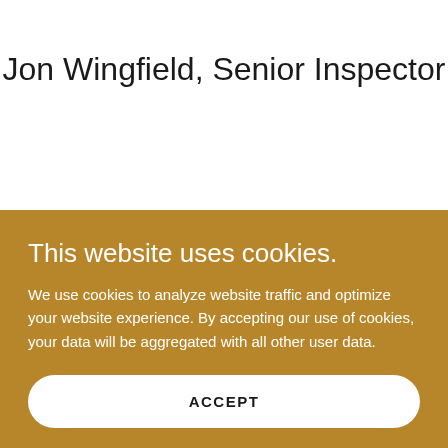Jon Wingfield, Senior Inspector
This website uses cookies.
We use cookies to analyze website traffic and optimize your website experience. By accepting our use of cookies, your data will be aggregated with all other user data.
ACCEPT